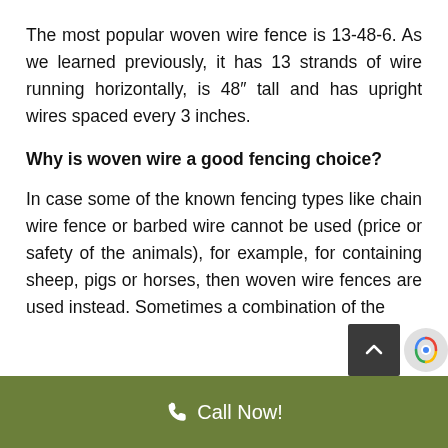The most popular woven wire fence is 13-48-6. As we learned previously, it has 13 strands of wire running horizontally, is 48″ tall and has upright wires spaced every 3 inches.
Why is woven wire a good fencing choice?
In case some of the known fencing types like chain wire fence or barbed wire cannot be used (price or safety of the animals), for example, for containing sheep, pigs or horses, then woven wire fences are used instead. Sometimes a combination of the
Call Now!